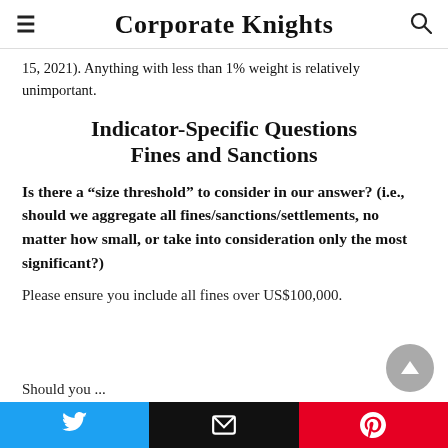Corporate Knights
15, 2021). Anything with less than 1% weight is relatively unimportant.
Indicator-Specific Questions
Fines and Sanctions
Is there a “size threshold” to consider in our answer? (i.e., should we aggregate all fines/sanctions/settlements, no matter how small, or take into consideration only the most significant?)
Please ensure you include all fines over US$100,000.
Should you...